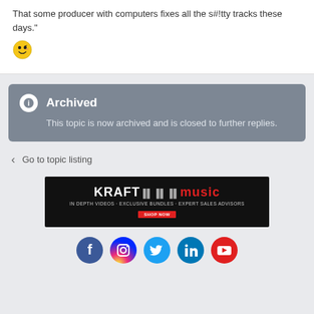That some producer with computers fixes all the s#!tty tracks these days."
[Figure (illustration): Winking smiley face emoji]
Archived
This topic is now archived and is closed to further replies.
< Go to topic listing
[Figure (illustration): Kraft Music advertisement banner: KRAFT music, IN DEPTH VIDEOS · EXCLUSIVE BUNDLES · EXPERT SALES ADVISORS, SHOP NOW]
[Figure (illustration): Social media icons: Facebook, Instagram, Twitter, LinkedIn, YouTube]